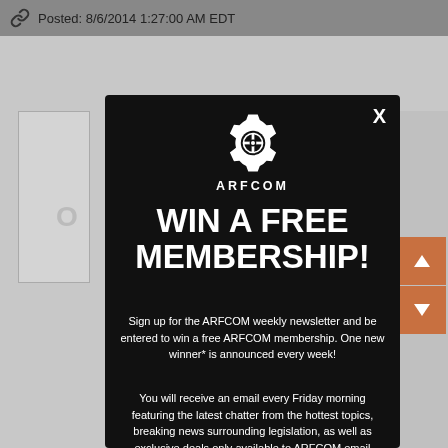Posted: 8/6/2014 1:27:00 AM EDT
[Figure (screenshot): ARFCOM website screenshot background with grey panels visible behind modal dialog]
WIN A FREE MEMBERSHIP!
Sign up for the ARFCOM weekly newsletter and be entered to win a free ARFCOM membership. One new winner* is announced every week!
You will receive an email every Friday morning featuring the latest chatter from the hottest topics, breaking news surrounding legislation, as well as exclusive deals only available to ARFCOM email subscribers.